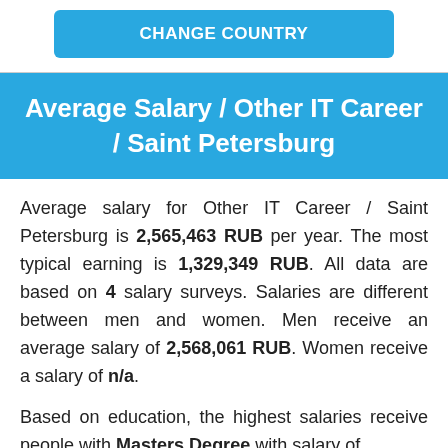[Figure (other): Blue button labeled CHANGE COUNTRY]
Average Salary / Other IT Career / Saint Petersburg
Average salary for Other IT Career / Saint Petersburg is 2,565,463 RUB per year. The most typical earning is 1,329,349 RUB. All data are based on 4 salary surveys. Salaries are different between men and women. Men receive an average salary of 2,568,061 RUB. Women receive a salary of n/a.
Based on education, the highest salaries receive people with Masters Degree with salary of